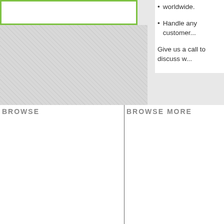[Figure (other): Green-bordered white box (image placeholder) in upper left, with gray checkered area below it representing an image area]
Handle any customer...
Give us a call to discuss w...
BROWSE
Welcome to iSold It
About
What Sells
How It Works
Services
Why iSOLD It?
For Sale Now!
BROWSE MORE
Drop-Off Service
Package Recycling